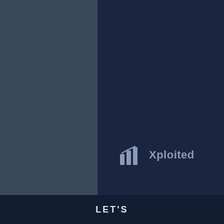[Figure (screenshot): Contact form UI with dark blue-grey panel on the left showing form fields: email input, Subject label, full name input, Your Message label, and message textarea. Right side shows dark navy background with Xploited brand logo. Footer bar shows LET'S text.]
Please enter your emai
Subject
Please tell us your full n
Your Message
Let us know how we ca
Xploited
LET'S